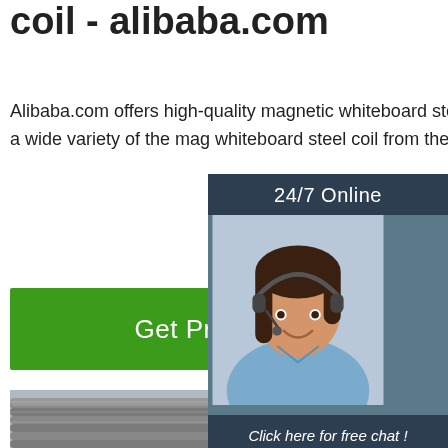coil - alibaba.com
Alibaba.com offers high-quality magnetic whiteboard steel coil at affordable prices. Purchase from a wide variety of the magnetic whiteboard steel coil from the most reliable suppliers on the market.
[Figure (other): Green 'Get Price' button]
[Figure (other): Customer service chat widget with '24/7 Online' header, photo of woman with headset, 'Click here for free chat!' text, and orange QUOTATION button]
[Figure (photo): Photo of stacked steel rebar/coils at an industrial/warehouse site with 'TOP' badge in orange]